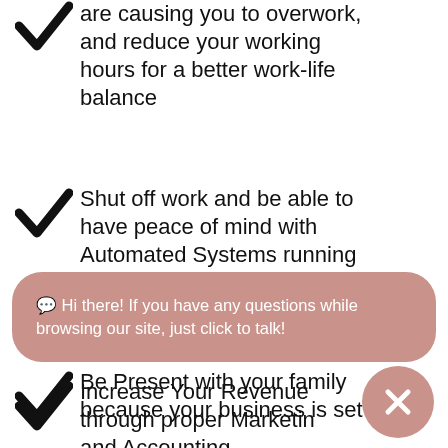are causing you to overwork, and reduce your working hours for a better work-life balance
Shut off work and be able to have peace of mind with Automated Systems running silently in the background
Be Present with your family because your business is set
💬 Hi there! If you have any questions while browsing our site, just click to talk!
Increase Your Revenue through proper Marketing and Accounting